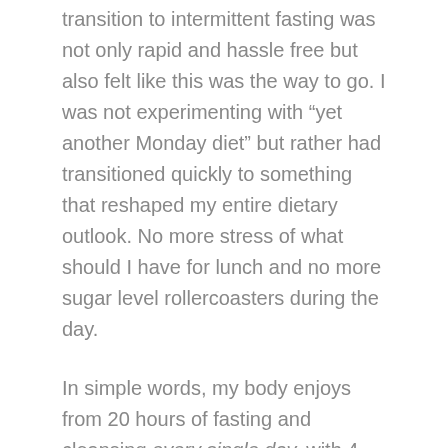transition to intermittent fasting was not only rapid and hassle free but also felt like this was the way to go. I was not experimenting with “yet another Monday diet” but rather had transitioned quickly to something that reshaped my entire dietary outlook. No more stress of what should I have for lunch and no more sugar level rollercoasters during the day.
In simple words, my body enjoys from 20 hours of fasting and cleansing every single day, with 4 hours of an “eating window”. Not to say I just stuff my mouth non-stop for 4 hours, but rather that I spread my food intake over the course of 4 hours with breaks. Importantly, as I eat once a day, the meal is not a “whatever the fridge offers” but a meal meticulously selected and carefully put together. I eat whatever I